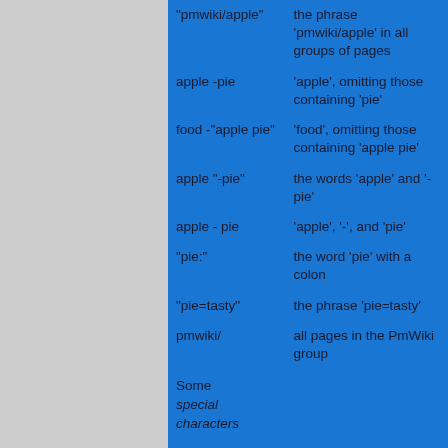| Search term | Description |
| --- | --- |
| "pmwiki/apple" | the phrase 'pmwiki/apple' in all groups of pages |
| apple -pie | 'apple', omitting those containing 'pie' |
| food -"apple pie" | 'food', omitting those containing 'apple pie' |
| apple "-pie" | the words 'apple' and '-pie' |
| apple - pie | 'apple', '-', and 'pie' |
| "pie:" | the word 'pie' with a colon |
| "pie=tasty" | the phrase 'pie=tasty' |
| pmwiki/ | all pages in the PmWiki group |
Some special characters